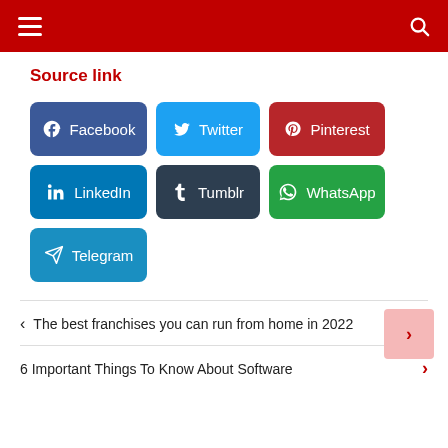Navigation bar with hamburger menu and search icon
Source link
[Figure (infographic): Social share buttons: Facebook, Twitter, Pinterest, LinkedIn, Tumblr, WhatsApp, Telegram]
< The best franchises you can run from home in 2022
6 Important Things To Know About Software